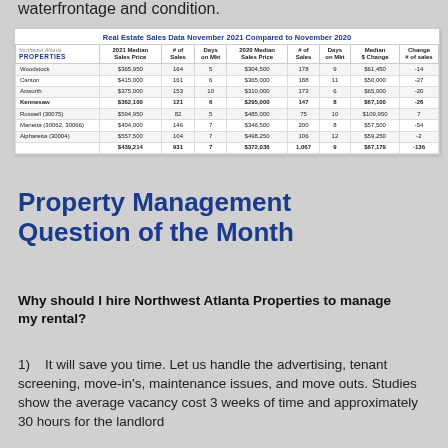waterfrontage and condition.
|  | 2021 Median Sales Price | # of Sales | Days on Mkt | 2020 Median Sales Price | # of Sales | Days on Mkt | Median $ Change | Change # of sales |
| --- | --- | --- | --- | --- | --- | --- | --- | --- |
| Woodstock | $365,950 | 164 | 5 | $304,500 | 178 | 9 | $61,450 | -14 |
| Canton | $415,000 | 161 | 6 | $365,000 | 188 | 11 | $50,000 | -27 |
| Acworth | $375,000 | 153 | 10 | $310,000 | 173 | 6 | $65,000 | -20 |
| Kennesaw | $362,100 | 121 | 6 | $295,000 | 147 | 8 | $67,100 | -26 |
| Roswell (30075) | $594,950 | 82 | 5 | $485,000 | 75 | 10 | $109,950 | 7 |
| Marietta (30062, 30066) | $404,000 | 146 | 7 | $346,500 | 200 | 8 | $57,500 | -54 |
| Alpharetta (30004) | $557,500 | 104 | 7 | $498,250 | 106 | 12 | $59,250 | -2 |
|  | $439,214 | 931 | 7 | $372,036 | 1,067 | 9 | $67,179 | -136 |
Property Management Question of the Month
Why should I hire Northwest Atlanta Properties to manage my rental?
1)   It will save you time. Let us handle the advertising, tenant screening, move-in's, maintenance issues, and move outs. Studies show the average vacancy cost 3 weeks of time and approximately 30 hours for the landlord